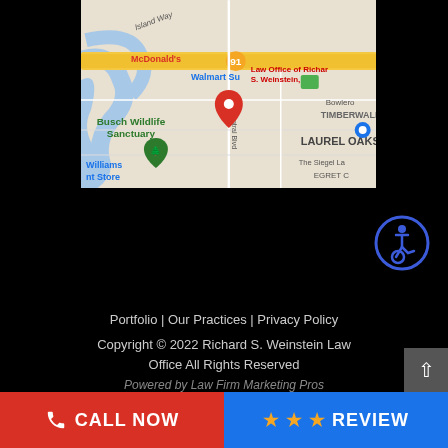[Figure (map): Google Maps screenshot showing the location of Law Office of Richard S. Weinstein PA near Busch Wildlife Sanctuary and LAUREL OAKS area, with McDonald's, Walmart Supercenter, TIMBERWALK, Bowlero, The Siegel La, and EGRET C visible. Central Blvd runs through the area.]
[Figure (infographic): Accessibility icon — blue circle with white wheelchair/person symbol]
Portfolio | Our Practices | Privacy Policy
Copyright © 2022 Richard S. Weinstein Law Office All Rights Reserved
Powered by Law Firm Marketing Pros
CALL NOW
REVIEW